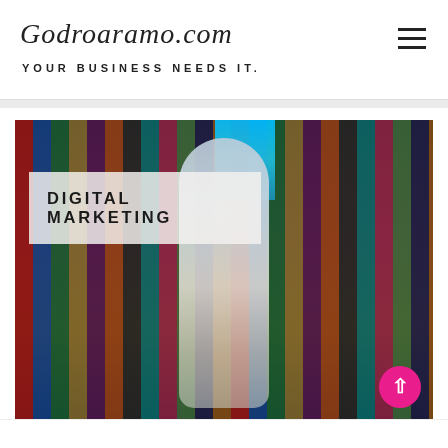Godroaramo.com
YOUR BUSINESS NEEDS IT.
[Figure (photo): Woman standing in front of a colorful clothing market stall with many garments on display. A semi-transparent white overlay in the upper left contains the text 'DIGITAL MARKETING'.]
DIGITAL MARKETING